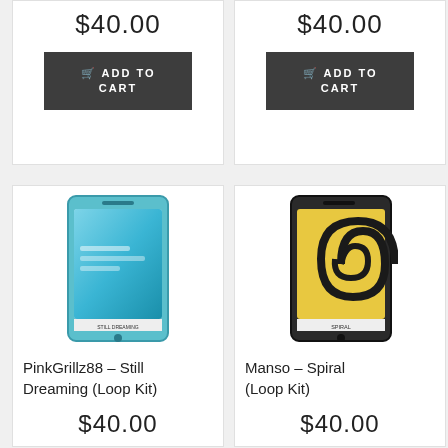$40.00
ADD TO CART
$40.00
ADD TO CART
[Figure (photo): PinkGrillz88 Still Dreaming Loop Kit product in light blue packaging resembling a phone]
PinkGrillz88 – Still Dreaming (Loop Kit)
$40.00
[Figure (photo): Manso Spiral Loop Kit product in black packaging resembling a phone with yellow spiral design]
Manso – Spiral (Loop Kit)
$40.00